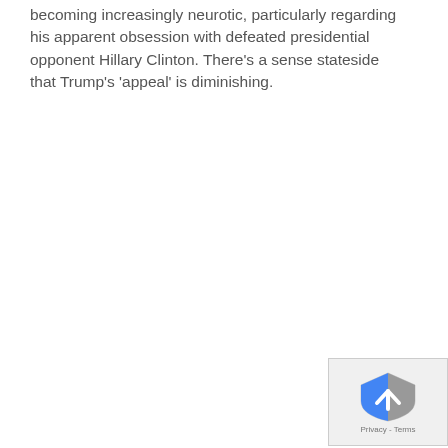becoming increasingly neurotic, particularly regarding his apparent obsession with defeated presidential opponent Hillary Clinton. There's a sense stateside that Trump's 'appeal' is diminishing.
[Figure (other): reCAPTCHA badge with logo (shield icon with blue and gray colors and arrow/chevron) and 'Privacy - Terms' text link at bottom right corner of page]